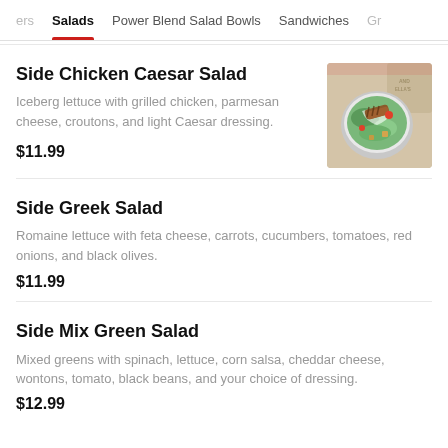ers  Salads  Power Blend Salad Bowls  Sandwiches  Gr
Side Chicken Caesar Salad
Iceberg lettuce with grilled chicken, parmesan cheese, croutons, and light Caesar dressing.
$11.99
[Figure (photo): Overhead photo of a Caesar salad bowl with grilled chicken, lettuce, and dressing, in a restaurant setting with Andella's branding visible.]
Side Greek Salad
Romaine lettuce with feta cheese, carrots, cucumbers, tomatoes, red onions, and black olives.
$11.99
Side Mix Green Salad
Mixed greens with spinach, lettuce, corn salsa, cheddar cheese, wontons, tomato, black beans, and your choice of dressing.
$12.99